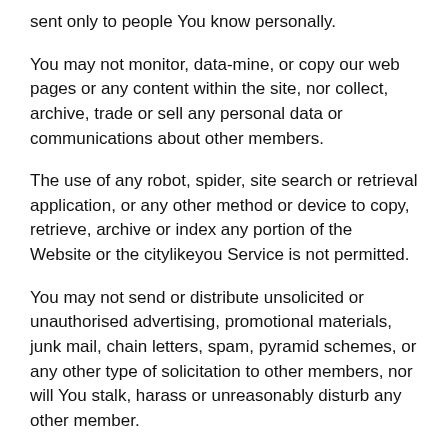sent only to people You know personally.
You may not monitor, data-mine, or copy our web pages or any content within the site, nor collect, archive, trade or sell any personal data or communications about other members.
The use of any robot, spider, site search or retrieval application, or any other method or device to copy, retrieve, archive or index any portion of the Website or the citylikeyou Service is not permitted.
You may not send or distribute unsolicited or unauthorised advertising, promotional materials, junk mail, chain letters, spam, pyramid schemes, or any other type of solicitation to other members, nor will You stalk, harass or unreasonably disturb any other member.
You alone are responsible for the confidentiality and security of Your account's username, password and usage. You are also accountable for all activities regarding Your account, with or without Your knowledge or permission. If You knowingly provide Your login information to another person, Your membership may be suspended or terminated